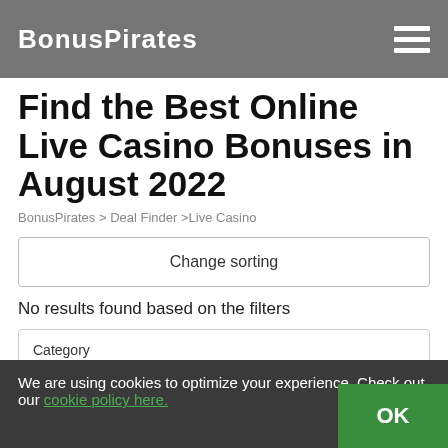BonusPirates
Find the Best Online Live Casino Bonuses in August 2022
BonusPirates > Deal Finder >Live Casino
Change sorting
No results found based on the filters
Category
Live Casino
Game Type
Select one
Deal Type
We are using cookies to optimize your experience. Check out our cookie policy here.
OK